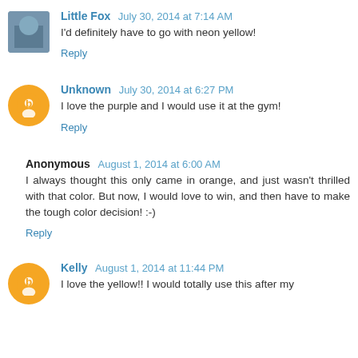Little Fox  July 30, 2014 at 7:14 AM
I'd definitely have to go with neon yellow!
Reply
Unknown  July 30, 2014 at 6:27 PM
I love the purple and I would use it at the gym!
Reply
Anonymous  August 1, 2014 at 6:00 AM
I always thought this only came in orange, and just wasn't thrilled with that color. But now, I would love to win, and then have to make the tough color decision! :-)
Reply
Kelly  August 1, 2014 at 11:44 PM
I love the yellow!! I would totally use this after my